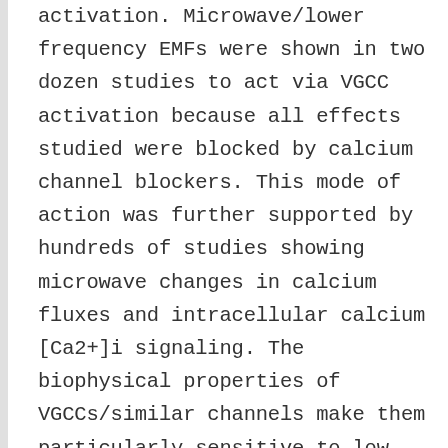activation. Microwave/lower frequency EMFs were shown in two dozen studies to act via VGCC activation because all effects studied were blocked by calcium channel blockers. This mode of action was further supported by hundreds of studies showing microwave changes in calcium fluxes and intracellular calcium [Ca2+]i signaling. The biophysical properties of VGCCs/similar channels make them particularly sensitive to low intensity, non-thermal EMF exposures. Non-thermal studies have shown that in most cases pulsed fields are more active than are non-pulsed fields and that exposures within certain intensity windows have much large biological